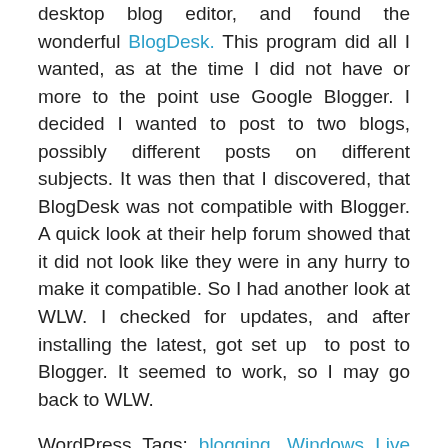desktop blog editor, and found the wonderful BlogDesk. This program did all I wanted, as at the time I did not have or more to the point use Google Blogger. I decided I wanted to post to two blogs, possibly different posts on different subjects. It was then that I discovered, that BlogDesk was not compatible with Blogger. A quick look at their help forum showed that it did not look like they were in any hurry to make it compatible. So I had another look at WLW. I checked for updates, and after installing the latest, got set up to post to Blogger. It seemed to work, so I may go back to WLW.
WordPress Tags: blogging, Windows Live Writer, Microsoft, BlogDesk, Blogger, Google